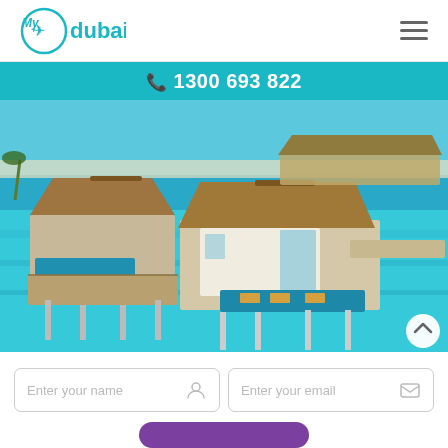[Figure (logo): MyDubai travel logo — teal circle with plane icon and 'My dubai' text]
≡ (hamburger menu icon)
☎ 1300 693 822
[Figure (photo): Aerial view of luxury overwater bungalows with thatched roofs, private pools, and wooden decks over turquoise tropical ocean water]
Enter your name
Enter your email